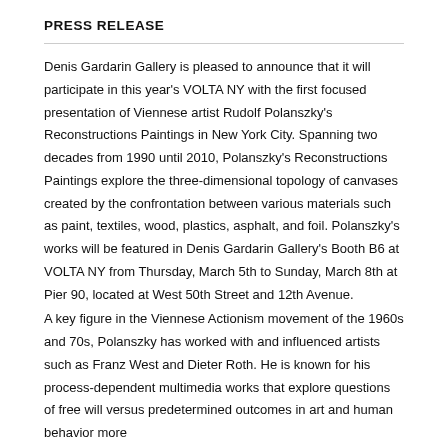PRESS RELEASE
Denis Gardarin Gallery is pleased to announce that it will participate in this year's VOLTA NY with the first focused presentation of Viennese artist Rudolf Polanszky's Reconstructions Paintings in New York City. Spanning two decades from 1990 until 2010, Polanszky's Reconstructions Paintings explore the three-dimensional topology of canvases created by the confrontation between various materials such as paint, textiles, wood, plastics, asphalt, and foil. Polanszky's works will be featured in Denis Gardarin Gallery's Booth B6 at VOLTA NY from Thursday, March 5th to Sunday, March 8th at Pier 90, located at West 50th Street and 12th Avenue.
A key figure in the Viennese Actionism movement of the 1960s and 70s, Polanszky has worked with and influenced artists such as Franz West and Dieter Roth. He is known for his process-dependent multimedia works that explore questions of free will versus predetermined outcomes in art and human behavior more